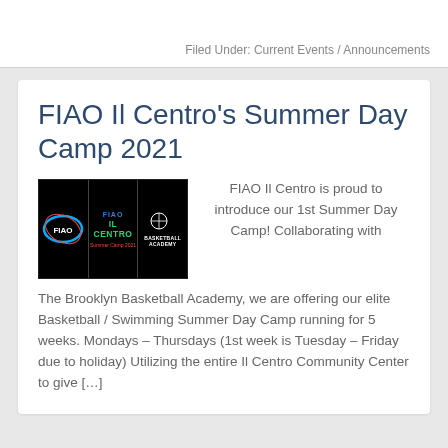Filed Under: Current Events / Announcements
FIAO Il Centro's Summer Day Camp 2021
[Figure (logo): Three-panel logo image on black background: left panel shows FIAO oval logo, center panel shows 'FIAO IL CENTRO Summer Camp 2021' text, right panel shows Brooklyn Basketball Academy logo]
FIAO Il Centro is proud to introduce our 1st Summer Day Camp! Collaborating with The Brooklyn Basketball Academy, we are offering our elite Basketball / Swimming Summer Day Camp running for 5 weeks. Mondays – Thursdays (1st week is Tuesday – Friday due to holiday) Utilizing the entire Il Centro Community Center to give […]